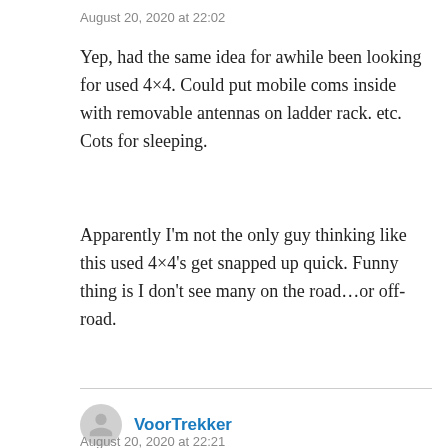August 20, 2020 at 22:02
Yep, had the same idea for awhile been looking for used 4×4. Could put mobile coms inside with removable antennas on ladder rack. etc. Cots for sleeping.
Apparently I'm not the only guy thinking like this used 4×4's get snapped up quick. Funny thing is I don't see many on the road...or off-road.
VoorTrekker
August 20, 2020 at 22:21
I can't see any Trekker visiting a local dealer...